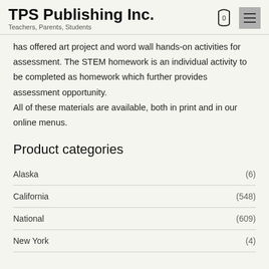TPS Publishing Inc. — Teachers, Parents, Students
has offered art project and word wall hands-on activities for assessment. The STEM homework is an individual activity to be completed as homework which further provides assessment opportunity.
All of these materials are available, both in print and in our online menus.
Product categories
Alaska (6)
California (548)
National (609)
New York (4)